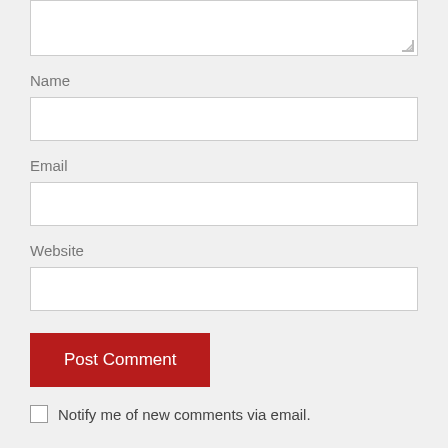[Figure (screenshot): Textarea input field (partially visible, top portion cropped)]
Name
[Figure (screenshot): Name text input field]
Email
[Figure (screenshot): Email text input field]
Website
[Figure (screenshot): Website text input field]
Post Comment
Notify me of new comments via email.